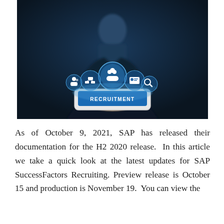[Figure (photo): A businessperson in a suit holding a tablet displaying glowing circular icons above it labeled RECRUITMENT, with icons representing people/groups, an ID card, and a magnifying glass, set against a dark blue blurred background.]
As of October 9, 2021, SAP has released their documentation for the H2 2020 release.  In this article we take a quick look at the latest updates for SAP SuccessFactors Recruiting. Preview release is October 15 and production is November 19.  You can view the